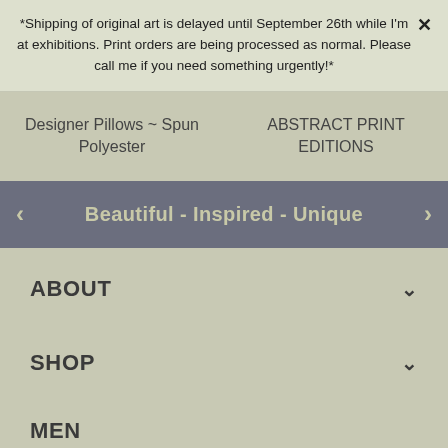*Shipping of original art is delayed until September 26th while I'm at exhibitions. Print orders are being processed as normal. Please call me if you need something urgently!*
Designer Pillows ~ Spun Polyester
ABSTRACT PRINT EDITIONS
Beautiful - Inspired - Unique
ABOUT
SHOP
MENU (partial)